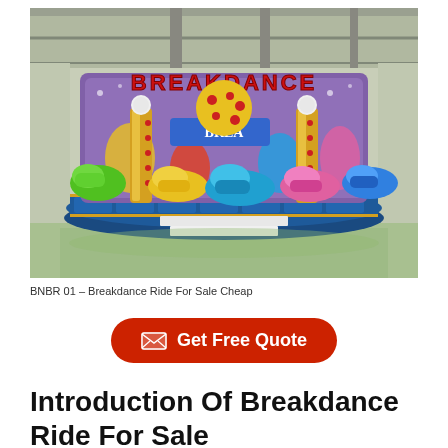[Figure (photo): A colorful breakdance amusement park ride inside a warehouse/factory. The ride features a circular platform with bright blue paneling, multiple ornate car-shaped seats in green, yellow, red, pink, and blue colors, tall gold/yellow decorative pillars with red lights, a large decorative arch with 'BREAKDANCE' lettering in red, and a large spotted ball centerpiece. White globe lights top the pillars.]
BNBR 01 – Breakdance Ride For Sale Cheap
[Figure (other): Red rounded rectangle button with envelope icon and text 'Get Free Quote']
Introduction Of Breakdance Ride For Sale